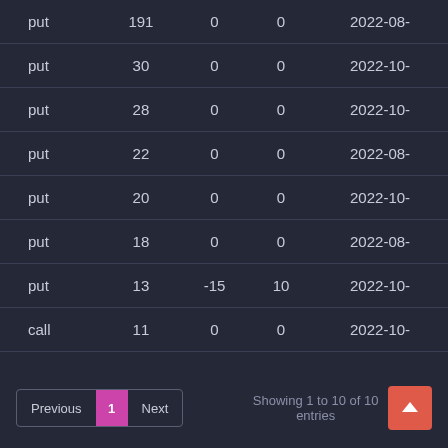| type | strike | delta | gamma | expiry |
| --- | --- | --- | --- | --- |
| put | 191 | 0 | 0 | 2022-08- |
| put | 30 | 0 | 0 | 2022-10- |
| put | 28 | 0 | 0 | 2022-10- |
| put | 22 | 0 | 0 | 2022-08- |
| put | 20 | 0 | 0 | 2022-10- |
| put | 18 | 0 | 0 | 2022-08- |
| put | 13 | -15 | 10 | 2022-10- |
| call | 11 | 0 | 0 | 2022-10- |
Showing 1 to 10 of 10 entries
Previous 1 Next